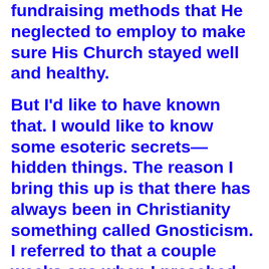fundraising methods that He neglected to employ to make sure His Church stayed well and healthy.
But I'd like to have known that. I would like to know some esoteric secrets—hidden things. The reason I bring this up is that there has always been in Christianity something called Gnosticism. I referred to that a couple weeks ago when I preached on the ―kingdom now theology.‖ Gnosticism was a church heresy beginning at the end of the first century, extending all the way through the early centuries, that is based upon a Greek word: gnosis—knowledge. The gnostics came along and said, ―Here we have the external word, but if you come into our group, we're going to give you a hidden interpretation of Scripture. We're going to take you into dreams and revelations. You get in our group and you're no longer going have